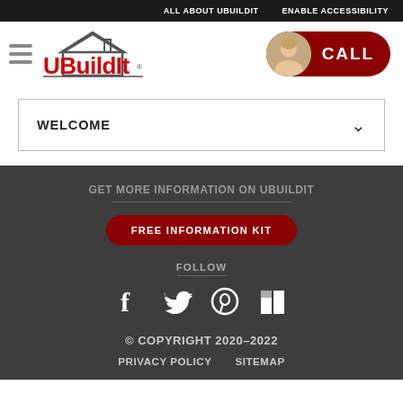ALL ABOUT UBUILDIT   ENABLE ACCESSIBILITY
[Figure (logo): UBuildIt logo with house icon and hamburger menu, plus a CALL button with avatar photo]
WELCOME
GET MORE INFORMATION ON UBUILDIT
FREE INFORMATION KIT
FOLLOW
[Figure (infographic): Social media icons: Facebook, Twitter, Pinterest, Houzz]
© COPYRIGHT 2020-2022
PRIVACY POLICY   SITEMAP